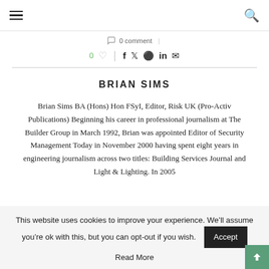≡  [hamburger menu]  [search icon]
0 comment
0 ♡ | f 𝕏 𝗣 in ✉
BRIAN SIMS
Brian Sims BA (Hons) Hon FSyI, Editor, Risk UK (Pro-Activ Publications) Beginning his career in professional journalism at The Builder Group in March 1992, Brian was appointed Editor of Security Management Today in November 2000 having spent eight years in engineering journalism across two titles: Building Services Journal and Light & Lighting. In 2005
This website uses cookies to improve your experience. We'll assume you're ok with this, but you can opt-out if you wish.
Read More